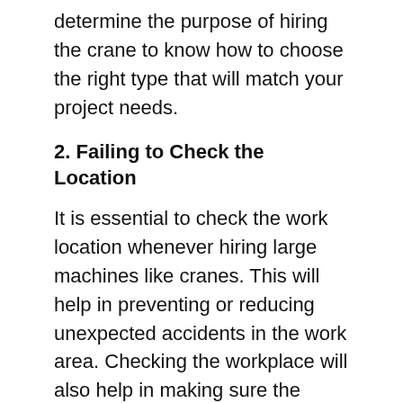determine the purpose of hiring the crane to know how to choose the right type that will match your project needs.
2. Failing to Check the Location
It is essential to check the work location whenever hiring large machines like cranes. This will help in preventing or reducing unexpected accidents in the work area. Checking the workplace will also help in making sure the cranes are properly used to make your tasks more efficient and better.
3. Hiring from Providers who do not offer maintenance services
It is important to ensure machines